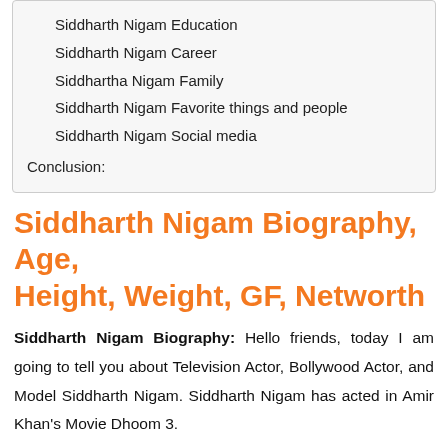Siddharth Nigam Education
Siddharth Nigam Career
Siddhartha Nigam Family
Siddharth Nigam Favorite things and people
Siddharth Nigam Social media
Conclusion:
Siddharth Nigam Biography, Age, Height, Weight, GF, Networth
Siddharth Nigam Biography: Hello friends, today I am going to tell you about Television Actor, Bollywood Actor, and Model Siddharth Nigam. Siddharth Nigam has acted in Amir Khan's Movie Dhoom 3.